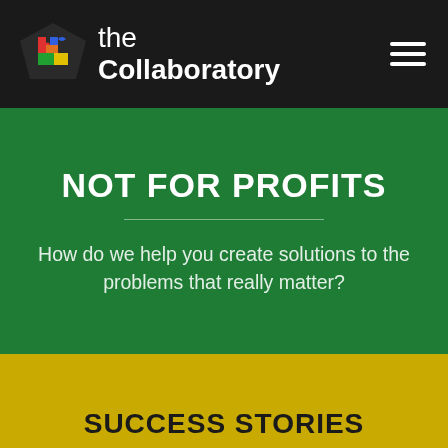the Collaboratory
NOT FOR PROFITS
How do we help you create solutions to the problems that really matter?
SUCCESS STORIES